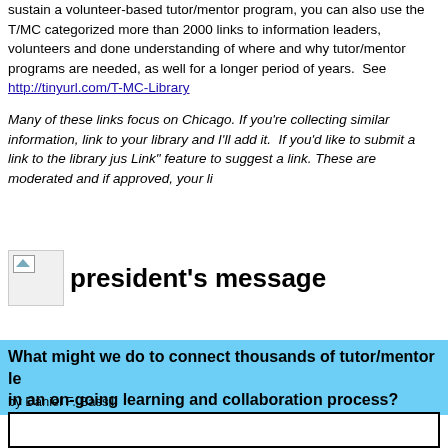sustain a volunteer-based tutor/mentor program, you can also use the T/MC categorized more than 2000 links to information leaders, volunteers and donors understanding of where and why tutor/mentor programs are needed, as well for a longer period of years. See http://tinyurl.com/T-MC-Library
Many of these links focus on Chicago. If you're collecting similar information, link to your library and I'll add it. If you'd like to submit a link to the library just Link" feature to suggest a link. These are moderated and if approved, your li
[Figure (illustration): Broken image placeholder icon]
president's message
What might we do to connect thousands of tutor/mentor le in an on-going learning and collaboration process?
by Daniel F. Bassill